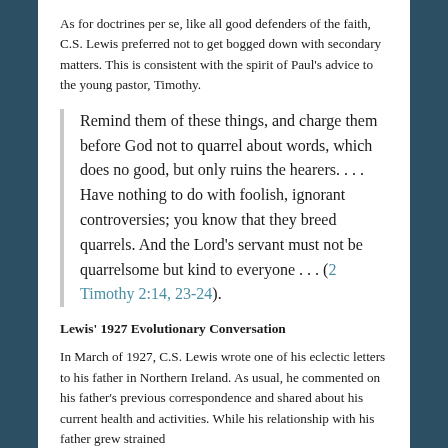As for doctrines per se, like all good defenders of the faith, C.S. Lewis preferred not to get bogged down with secondary matters. This is consistent with the spirit of Paul's advice to the young pastor, Timothy.
Remind them of these things, and charge them before God not to quarrel about words, which does no good, but only ruins the hearers. . . . Have nothing to do with foolish, ignorant controversies; you know that they breed quarrels. And the Lord's servant must not be quarrelsome but kind to everyone . . . (2 Timothy 2:14, 23-24).
Lewis' 1927 Evolutionary Conversation
In March of 1927, C.S. Lewis wrote one of his eclectic letters to his father in Northern Ireland. As usual, he commented on his father's previous correspondence and shared about his current health and activities. While his relationship with his father grew strained